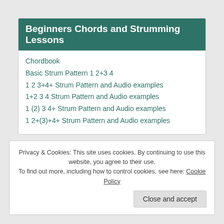Beginners Chords and Strumming Lessons
Chordbook
Basic Strum Pattern 1 2+3 4
1 2 3+4+ Strum Pattern and Audio examples
1+2 3 4 Strum Pattern and Audio examples
1 (2) 3 4+ Strum Pattern and Audio examples
1 2+(3)+4+ Strum Pattern and Audio examples
Privacy & Cookies: This site uses cookies. By continuing to use this website, you agree to their use. To find out more, including how to control cookies, see here: Cookie Policy
Close and accept